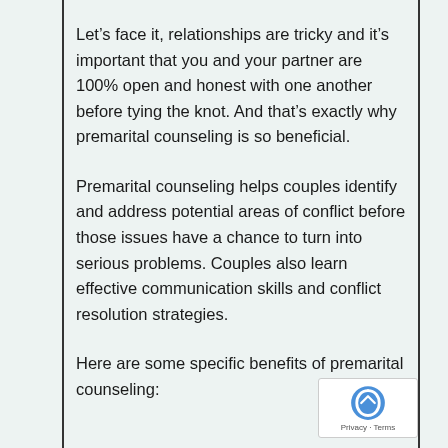Let’s face it, relationships are tricky and it’s important that you and your partner are 100% open and honest with one another before tying the knot. And that’s exactly why premarital counseling is so beneficial.
Premarital counseling helps couples identify and address potential areas of conflict before those issues have a chance to turn into serious problems. Couples also learn effective communication skills and conflict resolution strategies.
Here are some specific benefits of premarital counseling: